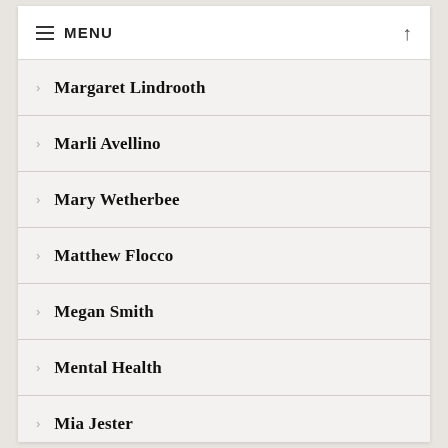≡ MENU ↑
Margaret Lindrooth
Marli Avellino
Mary Wetherbee
Matthew Flocco
Megan Smith
Mental Health
Mia Jester
Michael Kent
Michael McCreary
Michelle Finnegan
Mick Guile